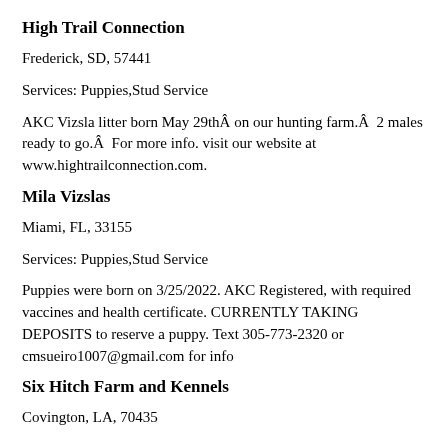High Trail Connection
Frederick, SD, 57441
Services: Puppies,Stud Service
AKC Vizsla litter born May 29thÂ on our hunting farm.Â  2 males ready to go.Â  For more info. visit our website at www.hightrailconnection.com.
Mila Vizslas
Miami, FL, 33155
Services: Puppies,Stud Service
Puppies were born on 3/25/2022. AKC Registered, with required vaccines and health certificate. CURRENTLY TAKING DEPOSITS to reserve a puppy. Text 305-773-2320 or cmsueiro1007@gmail.com for info
Six Hitch Farm and Kennels
Covington, LA, 70435